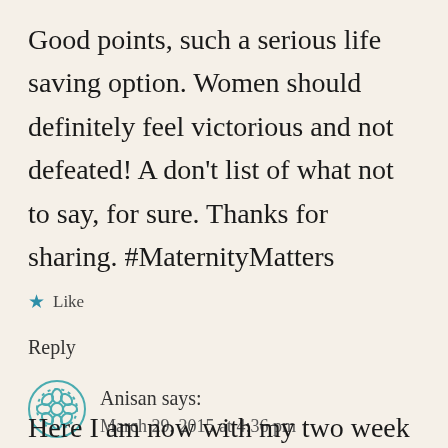Good points, such a serious life saving option. Women should definitely feel victorious and not defeated! A don't list of what not to say, for sure. Thanks for sharing. #MaternityMatters
★ Like
Reply
Anisan says: March 29, 2015 at 4:36 pm
Here I am now with my two week old beautiful son and my